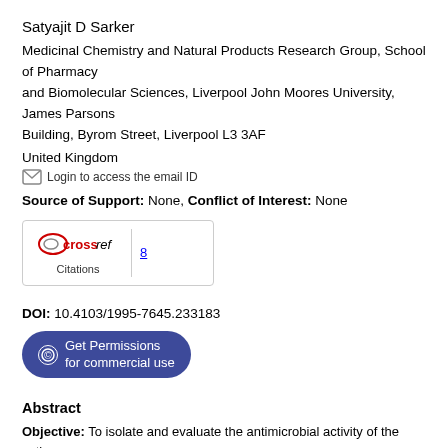Satyajit D Sarker
Medicinal Chemistry and Natural Products Research Group, School of Pharmacy and Biomolecular Sciences, Liverpool John Moores University, James Parsons Building, Byrom Street, Liverpool L3 3AF
United Kingdom
Login to access the email ID
Source of Support: None, Conflict of Interest: None
[Figure (other): Crossref Citations badge showing 8 citations]
DOI: 10.4103/1995-7645.233183
[Figure (other): Get Permissions for commercial use button]
Abstract
Objective: To isolate and evaluate the antimicrobial activity of the active principle(s) from the ethyl acetate (EtOAc) extract of endophytic fungus